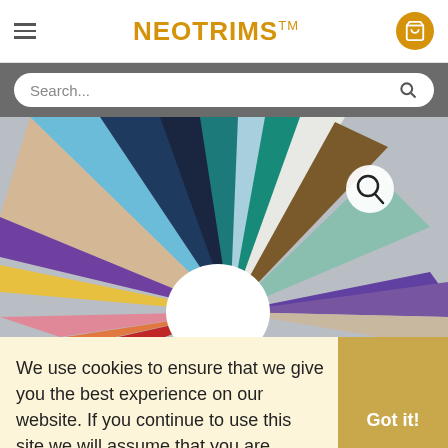NEOTRIMS™
Search...
[Figure (photo): Fan arrangement of colorful fabric swatches including blue, teal, navy, beige, light blue, white, brown, purple, yellow, pink, orange, red, and other colors, with a white circular cutout in the center and a magnifying glass icon overlay.]
We use cookies to ensure that we give you the best experience on our website. If you continue to use this site we will assume that you are happy with it Learn more